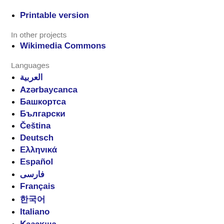Printable version
In other projects
Wikimedia Commons
Languages
العربية
Azərbaycanca
Башкортса
Български
Čeština
Deutsch
Ελληνικά
Español
فارسی
Français
한국어
Italiano
Қазақша